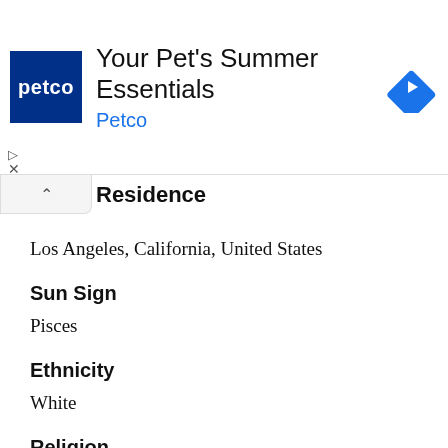[Figure (screenshot): Petco advertisement banner with logo, title 'Your Pet's Summer Essentials', and navigation arrow icon]
Residence
Los Angeles, California, United States
Sun Sign
Pisces
Ethnicity
White
Religion